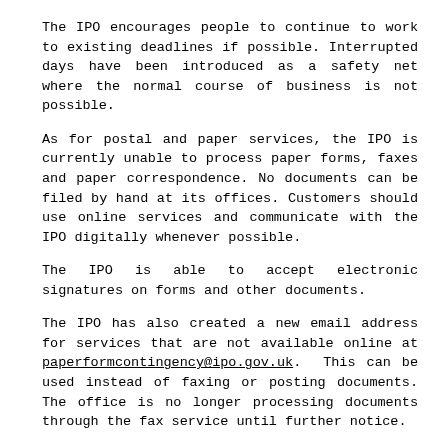The IPO encourages people to continue to work to existing deadlines if possible. Interrupted days have been introduced as a safety net where the normal course of business is not possible.
As for postal and paper services, the IPO is currently unable to process paper forms, faxes and paper correspondence. No documents can be filed by hand at its offices. Customers should use online services and communicate with the IPO digitally whenever possible.
The IPO is able to accept electronic signatures on forms and other documents.
The IPO has also created a new email address for services that are not available online at paperformcontingency@ipo.gov.uk. This can be used instead of faxing or posting documents. The office is no longer processing documents through the fax service until further notice.
If customers do file paperwork by post, these documents will not be processed until normal services are resumed and the sites re-open. At this point they will be given the date of receipt as a provisional filing date.